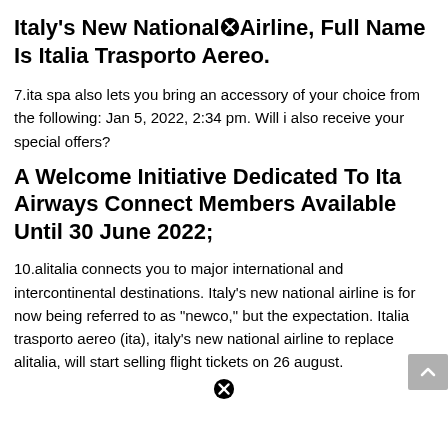Italy's New National⊗Airline, Full Name Is Italia Trasporto Aereo.
7.ita spa also lets you bring an accessory of your choice from the following: Jan 5, 2022, 2:34 pm. Will i also receive your special offers?
A Welcome Initiative Dedicated To Ita Airways Connect Members Available Until 30 June 2022;
10.alitalia connects you to major international and intercontinental destinations. Italy’s new national airline is for now being referred to as “newco,” but the expectation. Italia trasporto aereo (ita), italy’s new national airline to replace alitalia, will start selling flight tickets on 26 august.